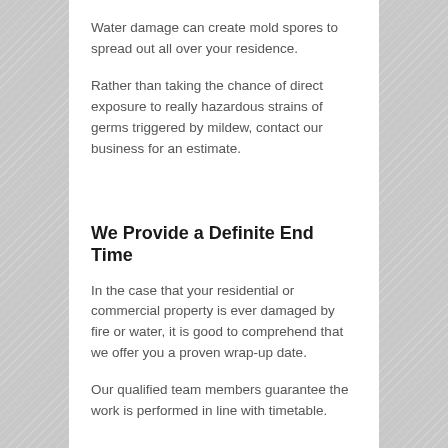Water damage can create mold spores to spread out all over your residence.
Rather than taking the chance of direct exposure to really hazardous strains of germs triggered by mildew, contact our business for an estimate.
We Provide a Definite End Time
In the case that your residential or commercial property is ever damaged by fire or water, it is good to comprehend that we offer you a proven wrap-up date.
Our qualified team members guarantee the work is performed in line with timetable.